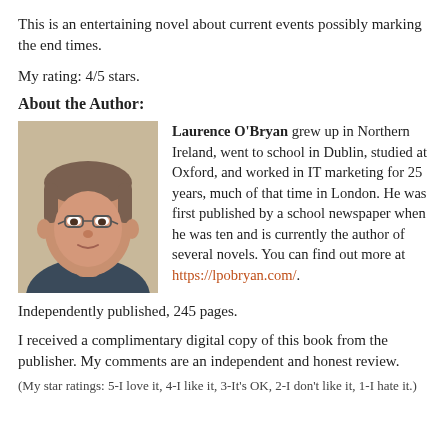This is an entertaining novel about current events possibly marking the end times.
My rating: 4/5 stars.
About the Author:
[Figure (photo): Portrait photo of Laurence O'Bryan, a middle-aged man with glasses and short grey-brown hair, wearing a dark shirt.]
Laurence O'Bryan grew up in Northern Ireland, went to school in Dublin, studied at Oxford, and worked in IT marketing for 25 years, much of that time in London. He was first published by a school newspaper when he was ten and is currently the author of several novels. You can find out more at https://lpobryan.com/.
Independently published, 245 pages.
I received a complimentary digital copy of this book from the publisher. My comments are an independent and honest review.
(My star ratings: 5-I love it, 4-I like it, 3-It's OK, 2-I don't like it, 1-I hate it.)